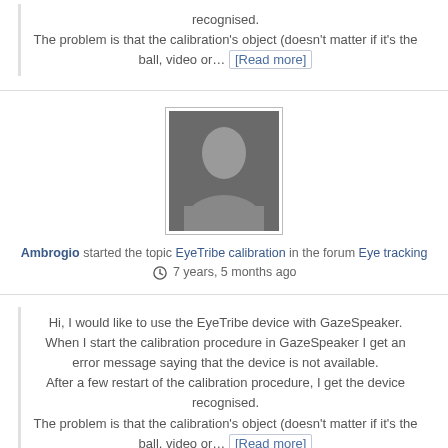recognised. The problem is that the calibration's object (doesn't matter if it's the ball, video or… [Read more]
[Figure (photo): Default avatar silhouette image, gray person outline on dark background]
Ambrogio started the topic EyeTribe calibration in the forum Eye tracking 7 years, 5 months ago
Hi, I would like to use the EyeTribe device with GazeSpeaker. When I start the calibration procedure in GazeSpeaker I get an error message saying that the device is not available. After a few restart of the calibration procedure, I get the device recognised. The problem is that the calibration's object (doesn't matter if it's the ball, video or… [Read more]
[Figure (photo): Default avatar silhouette image, gray person outline on dark background, partially visible at bottom]